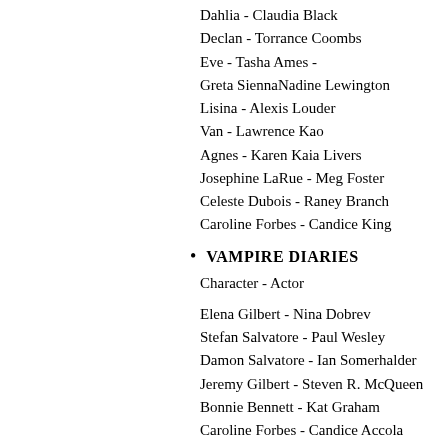Dahlia - Claudia Black
Declan - Torrance Coombs
Eve - Tasha Ames -
Greta SiennaNadine Lewington
Lisina - Alexis Louder
Van - Lawrence Kao
Agnes - Karen Kaia Livers
Josephine LaRue - Meg Foster
Celeste Dubois - Raney Branch
Caroline Forbes - Candice King
VAMPIRE DIARIES
Character - Actor
Elena Gilbert - Nina Dobrev
Stefan Salvatore - Paul Wesley
Damon Salvatore - Ian Somerhalder
Jeremy Gilbert - Steven R. McQueen
Bonnie Bennett - Kat Graham
Caroline Forbes - Candice Accola
Matt Donovan - Zach Roerig